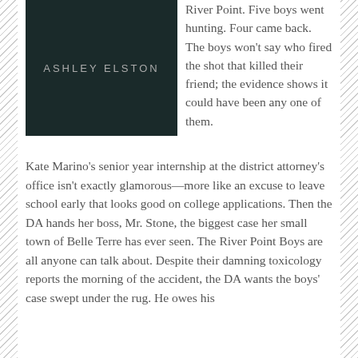[Figure (illustration): Dark book cover with text 'ASHLEY ELSTON' in light grey letters on a dark teal/black background]
River Point. Five boys went hunting. Four came back. The boys won't say who fired the shot that killed their friend; the evidence shows it could have been any one of them.
Kate Marino's senior year internship at the district attorney's office isn't exactly glamorous—more like an excuse to leave school early that looks good on college applications. Then the DA hands her boss, Mr. Stone, the biggest case her small town of Belle Terre has ever seen. The River Point Boys are all anyone can talk about. Despite their damning toxicology reports the morning of the accident, the DA wants the boys' case swept under the rug. He owes his